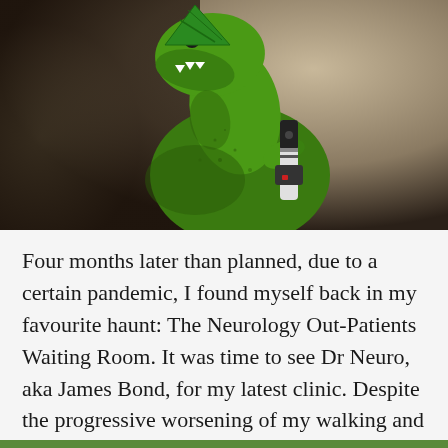[Figure (photo): A green T-Rex toy dinosaur wearing a green party hat and holding a black and white toy gun/blaster, photographed against a blurred warm brown background.]
Four months later than planned, due to a certain pandemic, I found myself back in my favourite haunt: The Neurology Out-Patients Waiting Room. It was time to see Dr Neuro, aka James Bond, for my latest clinic. Despite the progressive worsening of my walking and my